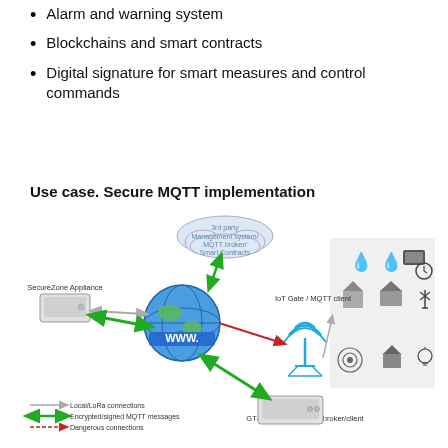Alarm and warning system
Blockchains and smart contracts
Digital signature for smart measures and control commands
Use case. Secure MQTT implementation
[Figure (infographic): Network diagram showing Secure MQTT implementation. Central globe/WWW node connects via green encrypted/signed MQTT arrows to: SecureZone Appliance (top left), 3rd party Management system/MQTT broker/Smart Contracts cloud (top center), IoT Gate/MQTT client with antenna and IoT device icons (right), and GT-20 Secure MQTT broker/client device (bottom center). Red dashed arrows indicate Dangerous connections. Gray arrows indicate Local/LoRa connections. Legend at bottom left shows three arrow types.]